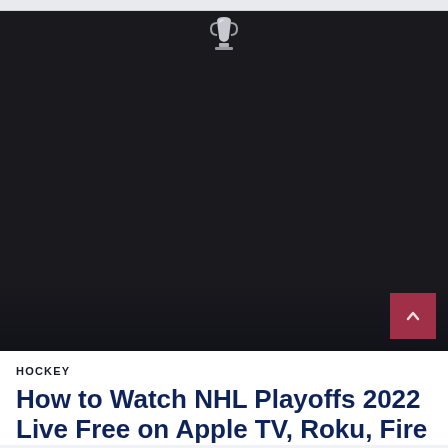[Figure (photo): Dark image with an NHL Stanley Cup trophy silhouette visible at the top center against a very dark background]
HOCKEY
How to Watch NHL Playoffs 2022 Live Free on Apple TV, Roku, Fire